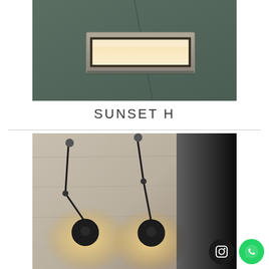[Figure (photo): A rectangular recessed wall light (Sunset H) mounted flush in a dark green/grey wall, emitting warm white light through a horizontal slot.]
SUNSET H
[Figure (photo): Two black adjustable wall-mounted lamps with round lamp heads glowing warm light against a concrete textured wall, partially obscured by a dark panel on the right.]